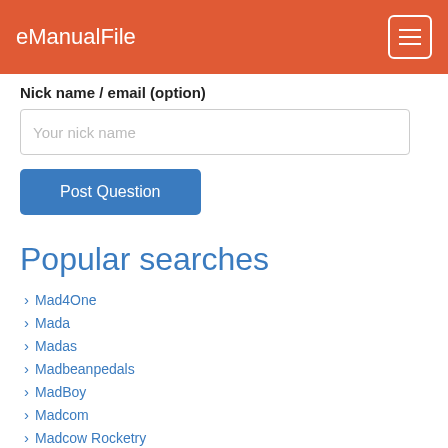eManualFile
Nick name / email (option)
Your nick name
Post Question
Popular searches
Mad4One
Mada
Madas
Madbeanpedals
MadBoy
Madcom
Madcow Rocketry
Maddog
Maddox
Made For Movement